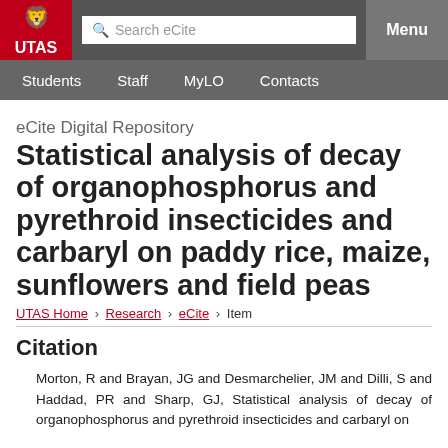[Figure (logo): UTAS (University of Tasmania) logo — lion crest above UTAS text in white on red background]
Search eCite | Menu | Students | Staff | MyLO | Contacts
eCite Digital Repository
Statistical analysis of decay of organophosphorus and pyrethroid insecticides and carbaryl on paddy rice, maize, sunflowers and field peas
UTAS Home > Research > eCite > Item
Citation
Morton, R and Brayan, JG and Desmarchelier, JM and Dilli, S and Haddad, PR and Sharp, GJ, Statistical analysis of decay of organophosphorus and pyrethroid insecticides and carbaryl on paddy rice, maize, sunflowers and field peas